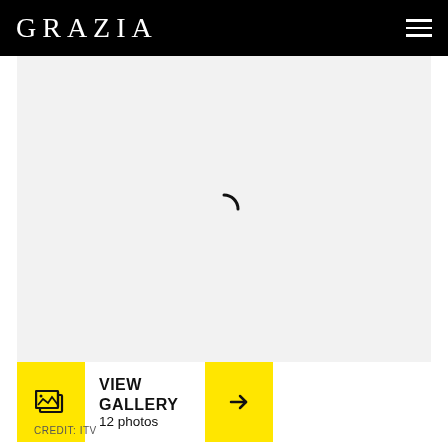GRAZIA
[Figure (photo): Loading spinner shown in a light grey image placeholder area]
VIEW GALLERY
12 photos
CREDIT: ITV